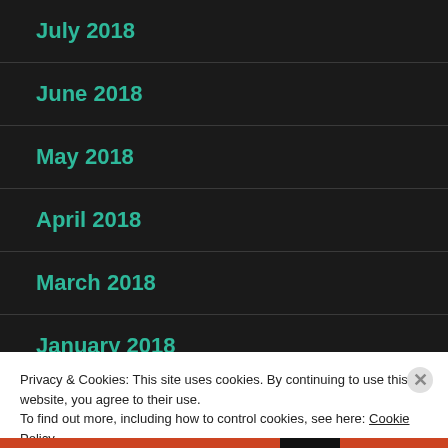July 2018
June 2018
May 2018
April 2018
March 2018
January 2018
Privacy & Cookies: This site uses cookies. By continuing to use this website, you agree to their use.
To find out more, including how to control cookies, see here: Cookie Policy
Close and accept